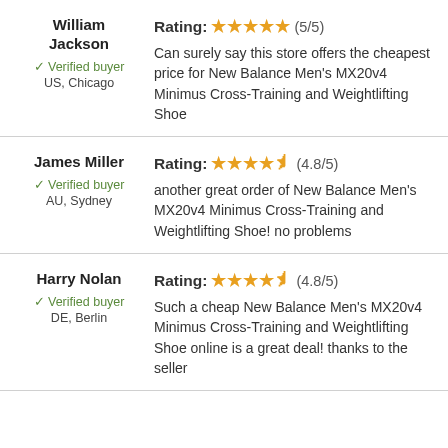William Jackson
Verified buyer
US, Chicago
Rating: (5/5)
Can surely say this store offers the cheapest price for New Balance Men's MX20v4 Minimus Cross-Training and Weightlifting Shoe
James Miller
Verified buyer
AU, Sydney
Rating: (4.8/5)
another great order of New Balance Men's MX20v4 Minimus Cross-Training and Weightlifting Shoe! no problems
Harry Nolan
Verified buyer
DE, Berlin
Rating: (4.8/5)
Such a cheap New Balance Men's MX20v4 Minimus Cross-Training and Weightlifting Shoe online is a great deal! thanks to the seller